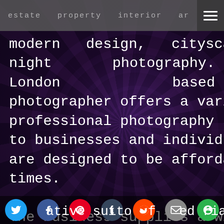estate   property   interior   ar
modern   design,   cityscape   and night photography. London based photographer  offers  a  variety  of professional  photography  services to  businesses  and  individual  which are  designed  to  be  affordable  at  all times.

The  business  supplies  a  wide  range of       architectural      photography images  that  are  contemporary  and creative  suitable  for   editorial,
[social icons: Twitter, Facebook, Pinterest, Tumblr, Reddit, Mail, Feedly]